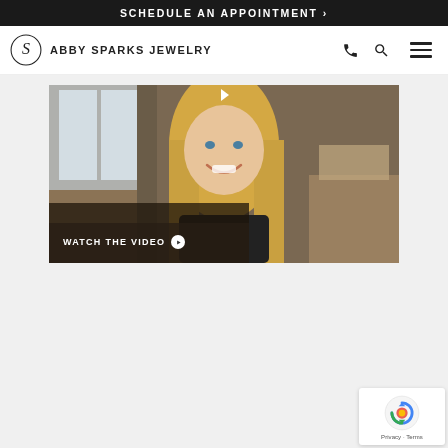SCHEDULE AN APPOINTMENT >
[Figure (logo): Abby Sparks Jewelry logo with circular S emblem and brand name text, plus phone, search, and hamburger menu icons]
[Figure (photo): Video thumbnail showing a smiling blonde woman in a jewelry studio setting, with 'WATCH THE VIDEO' overlay text and play button]
[Figure (other): Google reCAPTCHA badge in bottom right corner with Privacy and Terms links]